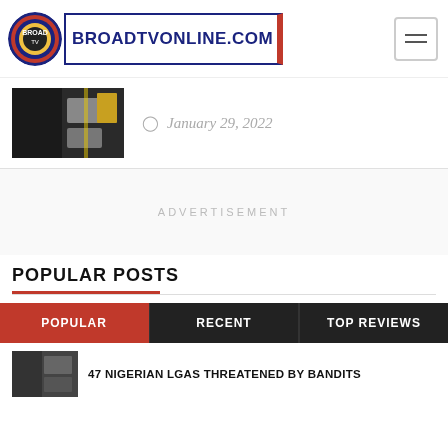BROADTVONLINE.COM
January 29, 2022
ADVERTISEMENT
POPULAR POSTS
POPULAR | RECENT | TOP REVIEWS
47 NIGERIAN LGAs THREATENED BY BANDITS